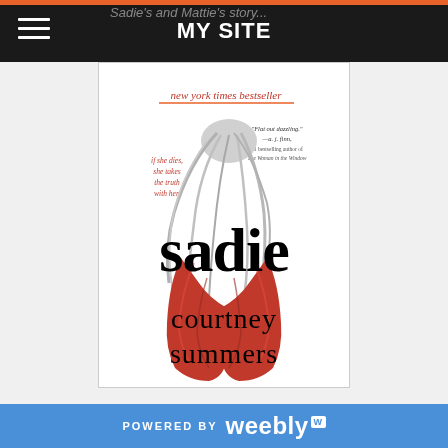MY SITE
Sadie's and Mattie's story...
[Figure (illustration): Book cover of 'Sadie' by Courtney Summers. Shows a girl with long flowing hair seen from behind wearing a red jacket. Text reads: 'new york times bestseller', 'if she dies, she takes the truth with her', 'sadie', 'courtney summers'. Pull quote: 'Flat out dazzling. —a. j. finn, #1 bestselling author of The Woman in the Window']
POWERED BY weebly